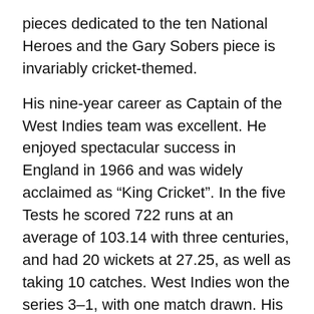pieces dedicated to the ten National Heroes and the Gary Sobers piece is invariably cricket-themed.
His nine-year career as Captain of the West Indies team was excellent. He enjoyed spectacular success in England in 1966 and was widely acclaimed as “King Cricket”. In the five Tests he scored 722 runs at an average of 103.14 with three centuries, and had 20 wickets at 27.25, as well as taking 10 catches. West Indies won the series 3–1, with one match drawn. His status was celebrated at that time by the Trinidadian calypso artist Mighty Sparrow, with his song “Sir Garfield Sobers”.
In a teary interview, 21st October 2015, Sobers explained how his play wasn’t about ego or fame.
“I have always played for the west indies team. It was such